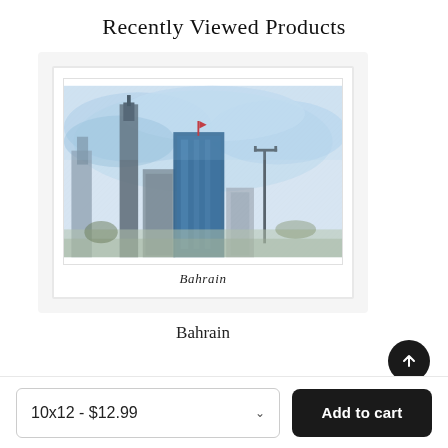Recently Viewed Products
[Figure (illustration): Watercolor painting of Bahrain cityscape with buildings, a tower, and blue sky, framed with white mat and border, with cursive 'Bahrain' text below the painting inside the frame.]
Bahrain
10x12 - $12.99
Add to cart